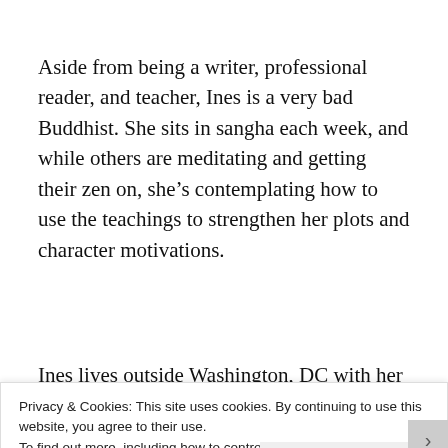Aside from being a writer, professional reader, and teacher, Ines is a very bad Buddhist. She sits in sangha each week, and while others are meditating and getting their zen on, she’s contemplating how to use the teachings to strengthen her plots and character motivations.
Ines lives outside Washington, DC with her two little
Privacy & Cookies: This site uses cookies. By continuing to use this website, you agree to their use.
To find out more, including how to control cookies, see here:
Cookie Policy
Close and accept